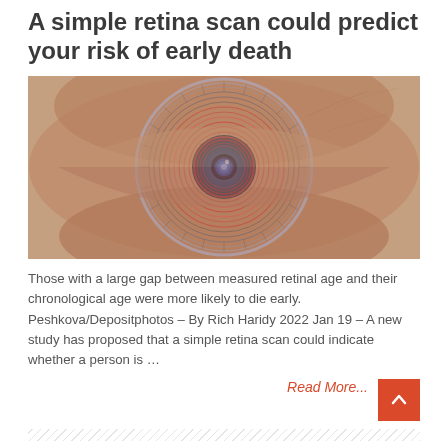A simple retina scan could predict your risk of early death
[Figure (photo): Close-up of a human eye with digital scanning overlay showing concentric red circles and tech-themed pattern, suggesting retinal scanning technology.]
Those with a large gap between measured retinal age and their chronological age were more likely to die early. Peshkova/Depositphotos – By Rich Haridy 2022 Jan 19 – A new study has proposed that a simple retina scan could indicate whether a person is …
Read More...